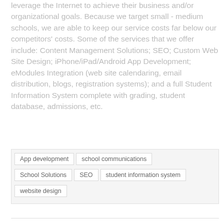leverage the Internet to achieve their business and/or organizational goals. Because we target small - medium schools, we are able to keep our service costs far below our competitors' costs. Some of the services that we offer include: Content Management Solutions; SEO; Custom Web Site Design; iPhone/iPad/Android App Development; eModules Integration (web site calendaring, email distribution, blogs, registration systems); and a full Student Information System complete with grading, student database, admissions, etc.
App development
school communications
School Solutions
SEO
student information system
website design